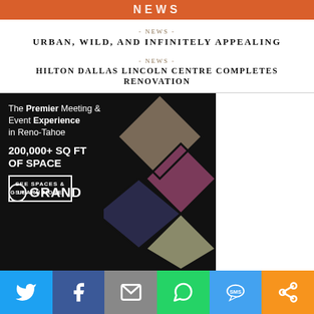NEWS
- NEWS -
URBAN, WILD, AND INFINITELY APPEALING
- NEWS -
HILTON DALLAS LINCOLN CENTRE COMPLETES RENOVATION
[Figure (illustration): GSR Grand advertisement: 'The Premier Meeting & Event Experience in Reno-Tahoe. 200,000+ SQ FT OF SPACE. SEE SPACES & LEARN MORE.' with diamond-shaped photo collage of event spaces and GSR Grand logo.]
[Figure (infographic): Social sharing bar with Twitter, Facebook, Email, WhatsApp, SMS, and More buttons.]